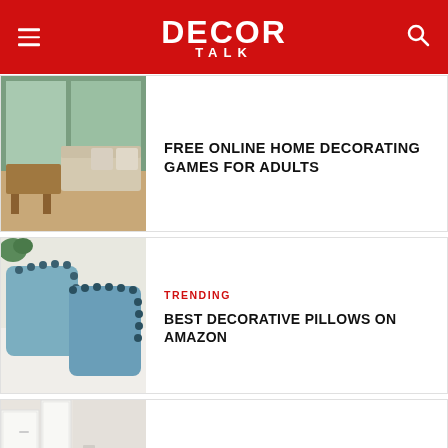DECOR TALK
[Figure (photo): Living room with wooden table and beige furniture near large windows]
FREE ONLINE HOME DECORATING GAMES FOR ADULTS
[Figure (photo): Two blue decorative pillows with dark stitching on a white surface]
TRENDING
BEST DECORATIVE PILLOWS ON AMAZON
[Figure (photo): Room corner with white cabinets and brown carpet flooring]
EXCLUSIVE
DOES FLOOR AND DECOR INSTALL FLOORING